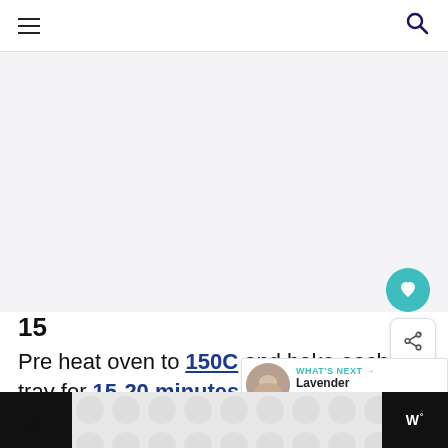Navigation bar with hamburger menu and search icon
[Figure (photo): Large light grey image placeholder area for recipe step photo]
15
Pre heat oven to 150C and bake each tray for 15-20 minutes depending on oven.
16
Advertisement footer with pattern and brand logo